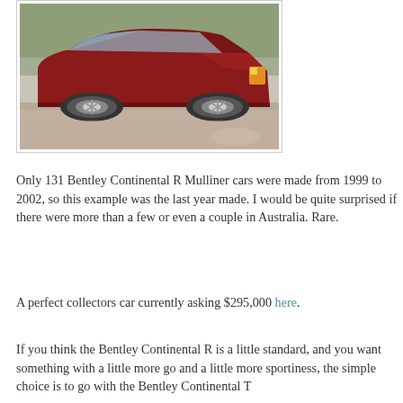[Figure (photo): Red Bentley Continental R Mulliner car photographed from the rear three-quarter angle, parked on a gravel driveway with trees in the background.]
Only 131 Bentley Continental R Mulliner cars were made from 1999 to 2002, so this example was the last year made. I would be quite surprised if there were more than a few or even a couple in Australia. Rare.
A perfect collectors car currently asking $295,000 here.
If you think the Bentley Continental R is a little standard, and you want something with a little more go and a little more sportiness, the simple choice is to go with the Bentley Continental T